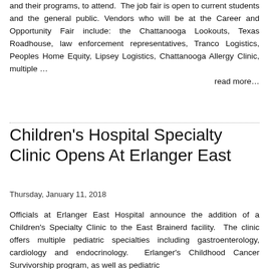and their programs, to attend.  The job fair is open to current students and the general public. Vendors who will be at the Career and Opportunity Fair include: the Chattanooga Lookouts, Texas Roadhouse, law enforcement representatives, Tranco Logistics, Peoples Home Equity, Lipsey Logistics, Chattanooga Allergy Clinic, multiple … read more…
Children's Hospital Specialty Clinic Opens At Erlanger East
Thursday, January 11, 2018
Officials at Erlanger East Hospital announce the addition of a Children's Specialty Clinic to the East Brainerd facility.  The clinic offers multiple pediatric specialties including gastroenterology, cardiology and endocrinology.  Erlanger's Childhood Cancer Survivorship program, as well as pediatric